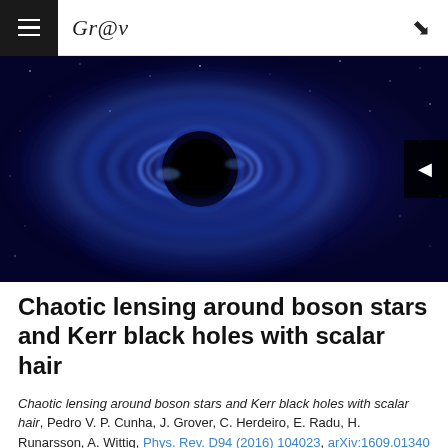Gr@v
[Figure (photo): A black hole surrounded by glowing blue accretion disk against a dark starry background, with a navigation arrow button on the right side]
Chaotic lensing around boson stars and Kerr black holes with scalar hair
Chaotic lensing around boson stars and Kerr black holes with scalar hair, Pedro V. P. Cunha, J. Grover, C. Herdeiro, E. Radu, H. Runarsson, A. Wittig, Phys. Rev. D94 (2016) 104023, arXiv:1609.01340 [gr-qc].
Publication type: Regular Articles